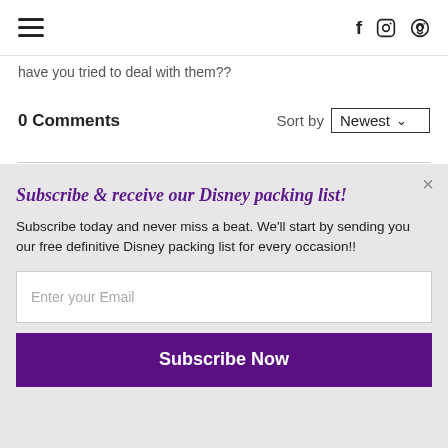Navigation header with hamburger menu and social icons (Facebook, Instagram, Pinterest)
have you tried to deal with them??
0 Comments   Sort by Newest
Add a comment...
Subscribe & receive our Disney packing list!
Subscribe today and never miss a beat. We'll start by sending you our free definitive Disney packing list for every occasion!!
Enter your Email
Subscribe Now